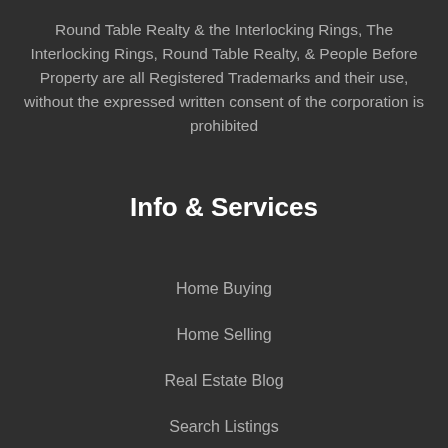Round Table Realty & the Interlocking Rings, The Interlocking Rings, Round Table Realty, & People Before Property are all Registered Trademarks and their use, without the expressed written consent of the corporation is prohibited
Info & Services
Home Buying
Home Selling
Real Estate Blog
Search Listings
Relocation